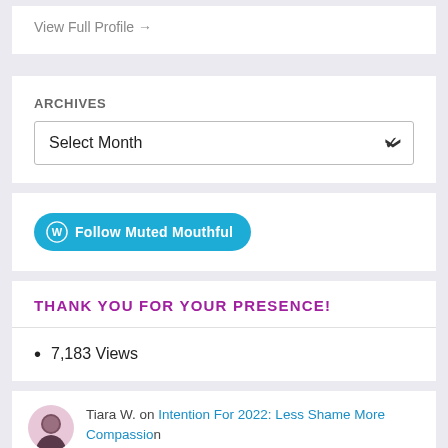View Full Profile →
ARCHIVES
Select Month
[Figure (screenshot): Follow Muted Mouthful button with WordPress icon]
THANK YOU FOR YOUR PRESENCE!
7,183 Views
Tiara W. on Intention For 2022: Less Shame More Compassion